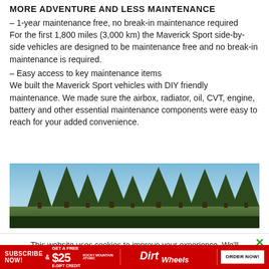MORE ADVENTURE AND LESS MAINTENANCE
– 1-year maintenance free, no break-in maintenance required
For the first 1,800 miles (3,000 km) the Maverick Sport side-by-side vehicles are designed to be maintenance free and no break-in maintenance is required.
– Easy access to key maintenance items
We built the Maverick Sport vehicles with DIY friendly maintenance. We made sure the airbox, radiator, oil, CVT, engine, battery and other essential maintenance components were easy to reach for your added convenience.
[Figure (photo): Outdoor scene with tall pine trees against a blue sky]
This website uses cookies to improve your experience. We'll assume you're ok with this, but you can opt-out if you wish.
SUBSCRIBE NOW! & GET A FREE $25 E-GIFT CREDIT  Dirt Wheels  ORDER NOW!